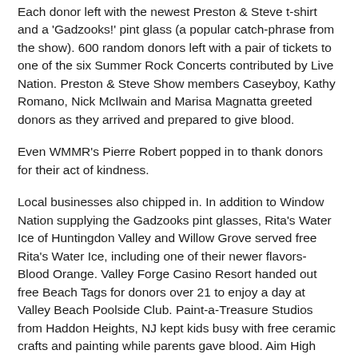Each donor left with the newest Preston & Steve t-shirt and a 'Gadzooks!' pint glass (a popular catch-phrase from the show). 600 random donors left with a pair of tickets to one of the six Summer Rock Concerts contributed by Live Nation. Preston & Steve Show members Caseyboy, Kathy Romano, Nick McIlwain and Marisa Magnatta greeted donors as they arrived and prepared to give blood.
Even WMMR's Pierre Robert popped in to thank donors for their act of kindness.
Local businesses also chipped in. In addition to Window Nation supplying the Gadzooks pint glasses, Rita's Water Ice of Huntingdon Valley and Willow Grove served free Rita's Water Ice, including one of their newer flavors- Blood Orange. Valley Forge Casino Resort handed out free Beach Tags for donors over 21 to enjoy a day at Valley Beach Poolside Club. Paint-a-Treasure Studios from Haddon Heights, NJ kept kids busy with free ceramic crafts and painting while parents gave blood. Aim High Studio from the Fairview Village/Collegeville, PA area kept the youth busy